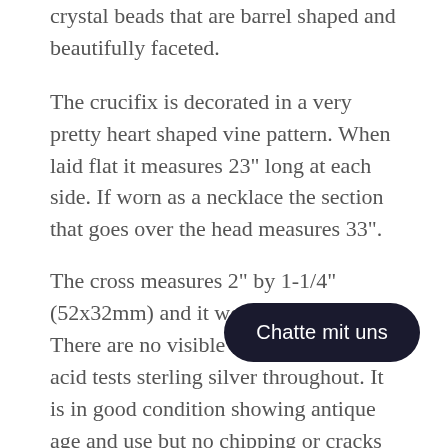crystal beads that are barrel shaped and beautifully faceted.
The crucifix is decorated in a very pretty heart shaped vine pattern. When laid flat it measures 23" long at each side. If worn as a necklace the section that goes over the head measures 33".
The cross measures 2" by 1-1/4" (52x32mm) and it weighs 42 grams. There are no visible hallmarks and it acid tests sterling silver throughout. It is in good condition showing antique age and use but no chipping or cracks to the beads, the gold plating has mainly worn off the cross showing the silver underneath.
At Mercy Madge we offer distinctive and unique